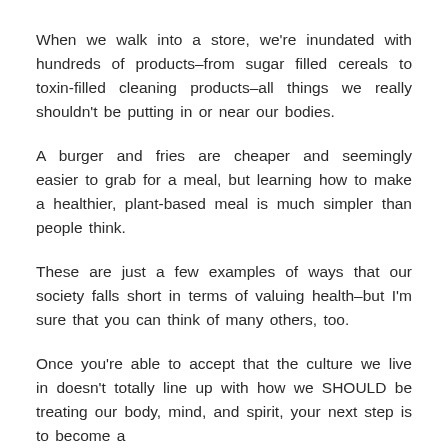When we walk into a store, we're inundated with hundreds of products–from sugar filled cereals to toxin-filled cleaning products–all things we really shouldn't be putting in or near our bodies.
A burger and fries are cheaper and seemingly easier to grab for a meal, but learning how to make a healthier, plant-based meal is much simpler than people think.
These are just a few examples of ways that our society falls short in terms of valuing health–but I'm sure that you can think of many others, too.
Once you're able to accept that the culture we live in doesn't totally line up with how we SHOULD be treating our body, mind, and spirit, your next step is to become a